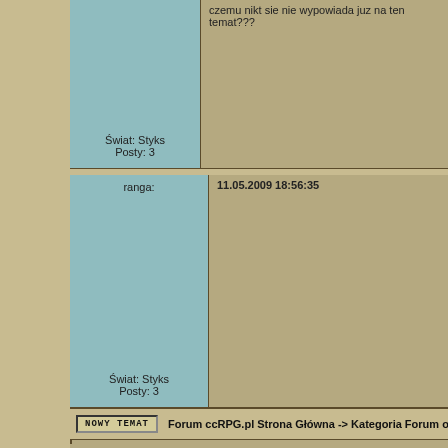Świat: Styks
Posty: 3
czemu nikt sie nie wypowiada juz na ten temat???
ranga:
11.05.2009 18:56:35
Świat: Styks
Posty: 3
NOWY TEMAT  Forum ccRPG.pl Strona Główna -> Kategoria Forum ogólne ->
Warning: mysql_fetch_row() expects parameter 1 to be resource, boolean g
Warning: mysql_fetch_row() expects parameter 1 to be resource, boolean g
Kto jest w grze
Nasi uzytkownicy napisali 1199 wiadomosci w 90 tematach.
Mamy łącznie 6321 graczy w 3 swiatach
W grze/na forum jest 2 graczy
Wyszukaj [input] szukaj
Strony dla lekarzy | Re
Powered by phpCC 0.795+ design and code by Kuba Kunkie
Wygenerowano w: 0